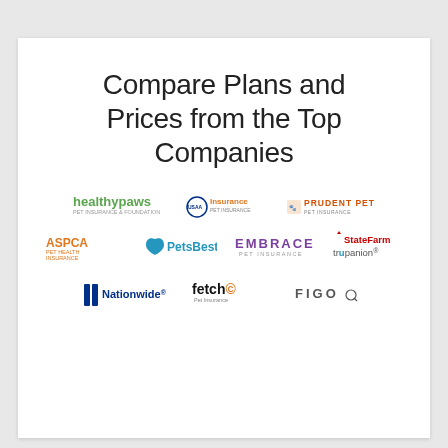Compare Plans and Prices from the Top Companies
[Figure (logo): Logos of top pet insurance companies: Healthy Paws, ASPCA Pet Health Insurance, Pets Best, Embrace Pet Insurance, State Farm, Trupanion, Nationwide, Fetch Pet Insurance, Figo, Prudent Pet, USAA Insurance]